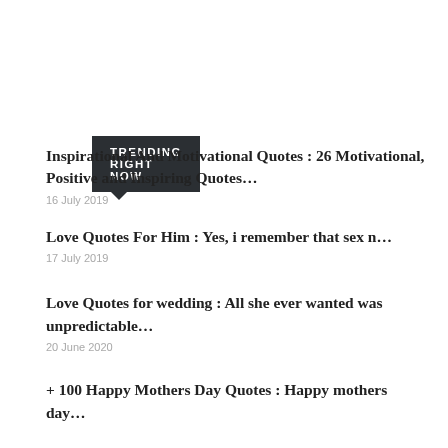TRENDING RIGHT NOW
Inspirational And Motivational Quotes : 26 Motivational, Positive and Inspiring Quotes…
16 July 2019
Love Quotes For Him : Yes, i remember that sex n…
17 July 2019
Love Quotes for wedding : All she ever wanted was unpredictable…
20 June 2020
+ 100 Happy Mothers Day Quotes : Happy mothers day…